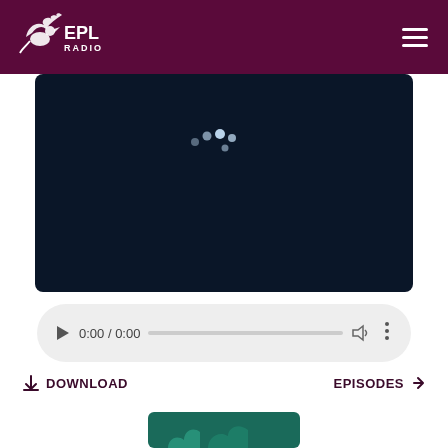[Figure (logo): EPL Radio logo with bird/dragon graphic on dark purple/maroon header bar]
[Figure (screenshot): Dark navy video player area with loading spinner dots in the center]
[Figure (screenshot): Audio player controls bar with play button, time display '0:00 / 0:00', progress bar, volume icon, and more options icon on light gray rounded rectangle]
DOWNLOAD
EPISODES →
[Figure (screenshot): Partial thumbnail card with dark teal background showing beginning of podcast artwork with illustrated figures]